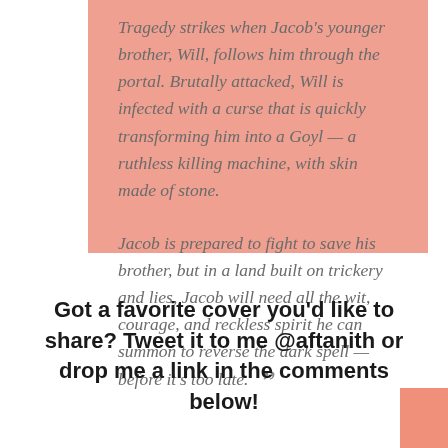Tragedy strikes when Jacob's younger brother, Will, follows him through the portal. Brutally attacked, Will is infected with a curse that is quickly transforming him into a Goyl — a ruthless killing machine, with skin made of stone.

Jacob is prepared to fight to save his brother, but in a land built on trickery and lies, Jacob will need all the wit, courage, and reckless spirit he can summon to reverse the dark spell — before it's too late. ”
Got a favorite cover you'd like to share? Tweet it to me @aftanith or drop me a link in the comments below!